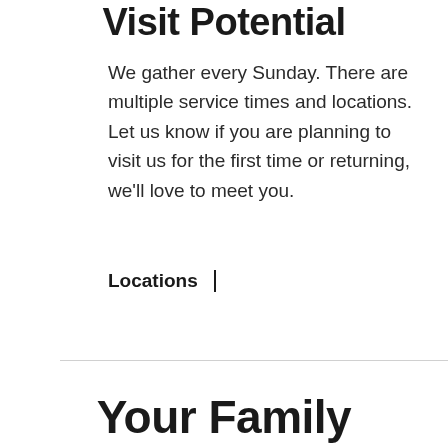Visit Potential
We gather every Sunday. There are multiple service times and locations. Let us know if you are planning to visit us for the first time or returning, we'll love to meet you.
Locations |
Your Family